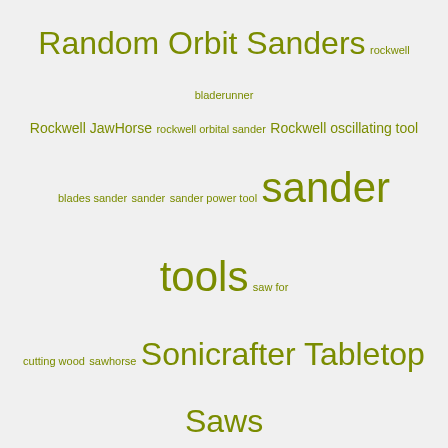Random Orbit Sanders rockwell bladerunner Rockwell JawHorse rockwell orbital sander Rockwell oscillating tool blades sander sander power tool sander tools saw for cutting wood sawhorse Sonicrafter Tabletop Saws universal fit Vibrafree woodshop organization woodworking saw work support stand
Recent Posts
Easy Home Improvement Ideas for Summer
Should You DIY Your Next Home Project? Here's What to Consider
Best Father's Day Tools for the Last Minute Gift Giver
How to Oscillating Multi Tool to Cut Drywall